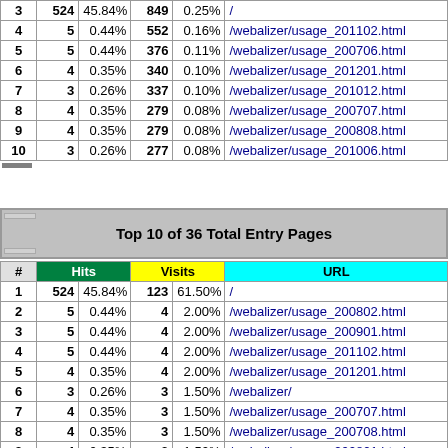| # | Hits |  | Visits |  | URL |
| --- | --- | --- | --- | --- | --- |
| 3 | 524 | 45.84% | 849 | 0.25% | / |
| 4 | 5 | 0.44% | 552 | 0.16% | /webalizer/usage_201102.html |
| 5 | 5 | 0.44% | 376 | 0.11% | /webalizer/usage_200706.html |
| 6 | 4 | 0.35% | 340 | 0.10% | /webalizer/usage_201201.html |
| 7 | 3 | 0.26% | 337 | 0.10% | /webalizer/usage_201012.html |
| 8 | 4 | 0.35% | 279 | 0.08% | /webalizer/usage_200707.html |
| 9 | 4 | 0.35% | 279 | 0.08% | /webalizer/usage_200808.html |
| 10 | 3 | 0.26% | 277 | 0.08% | /webalizer/usage_201006.html |
Top 10 of 36 Total Entry Pages
| # | Hits |  | Visits |  | URL |
| --- | --- | --- | --- | --- | --- |
| 1 | 524 | 45.84% | 123 | 61.50% | / |
| 2 | 5 | 0.44% | 4 | 2.00% | /webalizer/usage_200802.html |
| 3 | 5 | 0.44% | 4 | 2.00% | /webalizer/usage_200901.html |
| 4 | 5 | 0.44% | 4 | 2.00% | /webalizer/usage_201102.html |
| 5 | 4 | 0.35% | 4 | 2.00% | /webalizer/usage_201201.html |
| 6 | 3 | 0.26% | 3 | 1.50% | /webalizer/ |
| 7 | 4 | 0.35% | 3 | 1.50% | /webalizer/usage_200707.html |
| 8 | 4 | 0.35% | 3 | 1.50% | /webalizer/usage_200708.html |
| 9 | 4 | 0.35% | 3 | 1.50% | /webalizer/usage_200801.html |
| 10 | 4 | 0.35% | 3 | 1.50% | /webalizer/usage_200806.html |